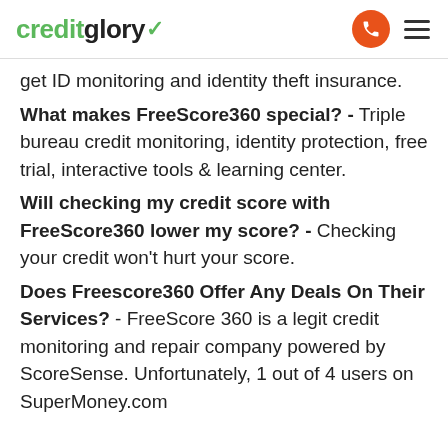creditglory (logo) | phone icon | hamburger menu
get ID monitoring and identity theft insurance.
What makes FreeScore360 special? - Triple bureau credit monitoring, identity protection, free trial, interactive tools & learning center.
Will checking my credit score with FreeScore360 lower my score? - Checking your credit won't hurt your score.
Does Freescore360 Offer Any Deals On Their Services? - FreeScore 360 is a legit credit monitoring and repair company powered by ScoreSense. Unfortunately, 1 out of 4 users on SuperMoney.com